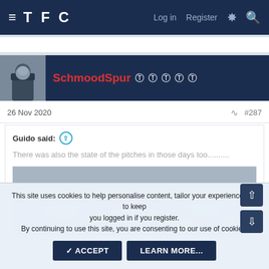TFC   Log in   Register
SchmoodSpur
26 Nov 2020   #287
Guido said:
There was also the state of the pitches in those days too..........
[Figure (photo): Snowy or frost-covered football pitch with crowd in background]
This site uses cookies to help personalise content, tailor your experience and to keep you logged in if you register.
By continuing to use this site, you are consenting to our use of cookies.